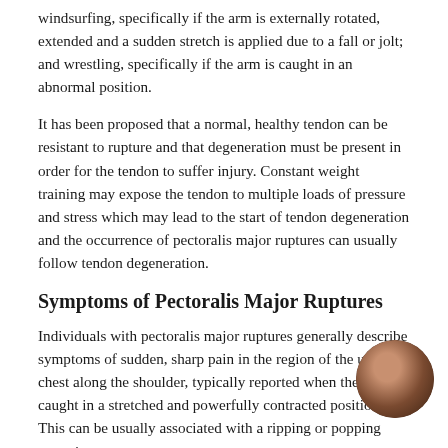windsurfing, specifically if the arm is externally rotated, extended and a sudden stretch is applied due to a fall or jolt; and wrestling, specifically if the arm is caught in an abnormal position.
It has been proposed that a normal, healthy tendon can be resistant to rupture and that degeneration must be present in order for the tendon to suffer injury. Constant weight training may expose the tendon to multiple loads of pressure and stress which may lead to the start of tendon degeneration and the occurrence of pectoralis major ruptures can usually follow tendon degeneration.
Symptoms of Pectoralis Major Ruptures
Individuals with pectoralis major ruptures generally describe symptoms of sudden, sharp pain in the region of the upper chest along the shoulder, typically reported when the arm is caught in a stretched and powerfully contracted position. This can be usually associated with a ripping or popping sensation.
Because of the pain, many affected individuals may refuse to move their injured shoulder, causing a discoloration of the